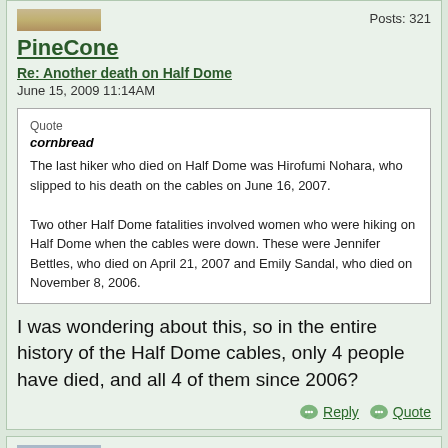PineCone
Posts: 321
Re: Another death on Half Dome
June 15, 2009 11:14AM
Quote
cornbread
The last hiker who died on Half Dome was Hirofumi Nohara, who slipped to his death on the cables on June 16, 2007.

Two other Half Dome fatalities involved women who were hiking on Half Dome when the cables were down. These were Jennifer Bettles, who died on April 21, 2007 and Emily Sandal, who died on November 8, 2006.
I was wondering about this, so in the entire history of the Half Dome cables, only 4 people have died, and all 4 of them since 2006?
Reply
Quote